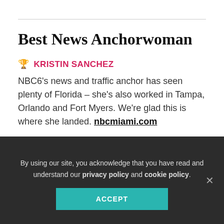Best News Anchorwoman
🏆 KRISTIN SANCHEZ
NBC6's news and traffic anchor has seen plenty of Florida – she's also worked in Tampa, Orlando and Fort Myers. We're glad this is where she landed. nbcmiami.com
RUNNERS UP
By using our site, you acknowledge that you have read and understand our privacy policy and cookie policy.
ACCEPT